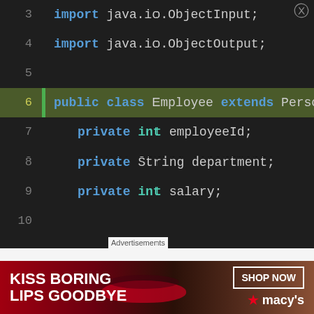[Figure (screenshot): Java source code editor screenshot showing Employee class definition with line numbers 3-24. Line 6 is highlighted in green. Code shows imports, class declaration extending Person, private fields (employeeId, department, salary), default constructor, parameterized constructor with super call and field assignments, and a comment about getters/setters.]
Advertisements
[Figure (photo): Macy's advertisement banner with red lipstick close-up photo. Text reads KISS BORING LIPS GOODBYE with SHOP NOW button and Macy's star logo.]